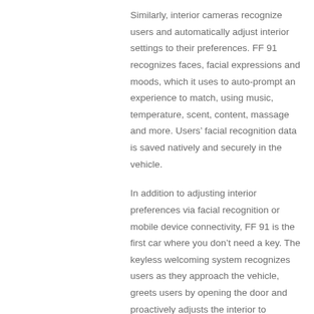Similarly, interior cameras recognize users and automatically adjust interior settings to their preferences. FF 91 recognizes faces, facial expressions and moods, which it uses to auto-prompt an experience to match, using music, temperature, scent, content, massage and more. Users' facial recognition data is saved natively and securely in the vehicle.
In addition to adjusting interior preferences via facial recognition or mobile device connectivity, FF 91 is the first car where you don't need a key. The keyless welcoming system recognizes users as they approach the vehicle, greets users by opening the door and proactively adjusts the interior to customized FFID settings.
The New Performance